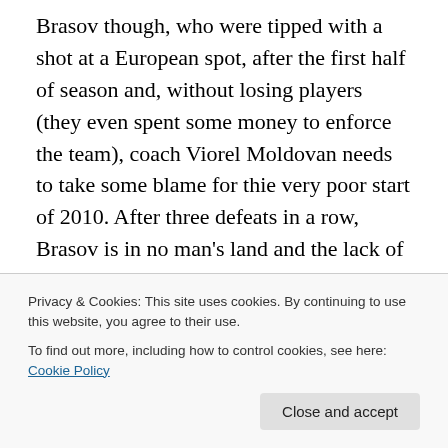Brasov though, who were tipped with a shot at a European spot, after the first half of season and, without losing players (they even spent some money to enforce the team), coach Viorel Moldovan needs to take some blame for thie very poor start of 2010. After three defeats in a row, Brasov is in no man's land and the lack of perspective will probably further damage the players' morale and motivation. After Mulisa's opener (nice volley with his right foot, from inside the box), Dusan Savic scored his first goal for FC Brasov, but the Moldova international
Privacy & Cookies: This site uses cookies. By continuing to use this website, you agree to their use. To find out more, including how to control cookies, see here: Cookie Policy
Close and accept